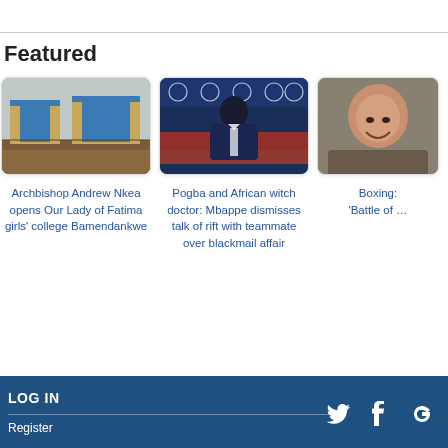Featured
[Figure (photo): Construction site with blue-panelled building under a grey sky]
Archbishop Andrew Nkea opens Our Lady of Fatima girls' college Bamendankwe
[Figure (photo): A man in a dark jacket at a Champions League press conference]
Pogba and African witch doctor: Mbappe dismisses talk of rift with teammate over blackmail affair
[Figure (photo): A smiling bald man (partially cropped)]
Boxing: 'Battle of …
LOG IN  Register